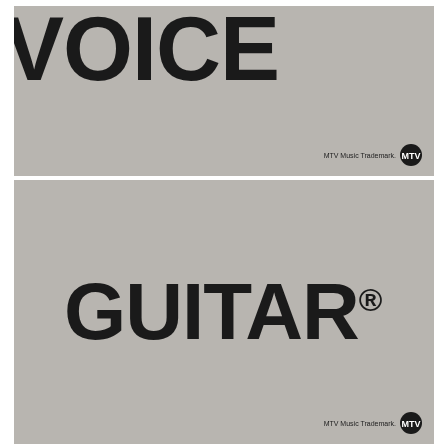[Figure (illustration): Gray rectangular banner with large bold black text reading 'VOICE' and an MTV Music Trademark badge in the bottom right corner.]
[Figure (illustration): Gray rectangular banner with large bold black text reading 'GUITAR' with a registered trademark symbol, and an MTV Music Trademark badge in the bottom right corner.]